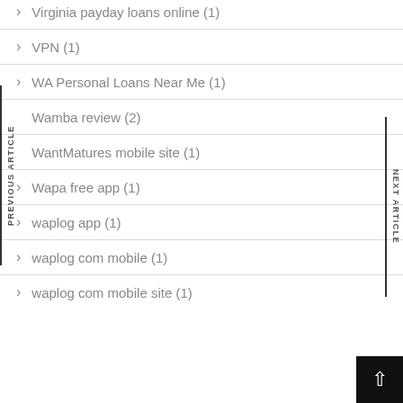Virginia payday loans online (1)
VPN (1)
WA Personal Loans Near Me (1)
Wamba review (2)
WantMatures mobile site (1)
Wapa free app (1)
waplog app (1)
waplog com mobile (1)
waplog com mobile site (1)